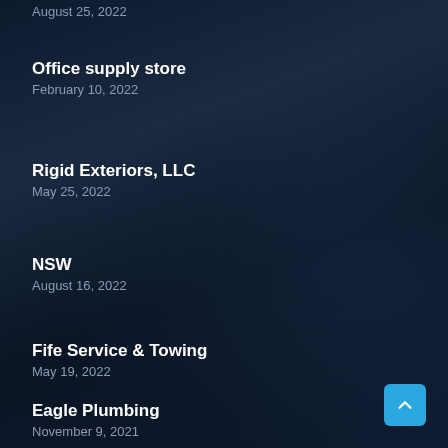August 25, 2022
Office supply store
February 10, 2022
Rigid Exteriors, LLC
May 25, 2022
NSW
August 16, 2022
Fife Service & Towing
May 19, 2022
Eagle Plumbing
November 9, 2021